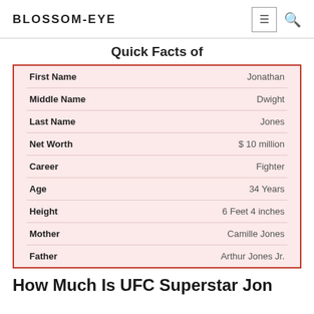BLOSSOM-EYE
Quick Facts of
| Field | Value |
| --- | --- |
| First Name | Jonathan |
| Middle Name | Dwight |
| Last Name | Jones |
| Net Worth | $ 10 million |
| Career | Fighter |
| Age | 34 Years |
| Height | 6 Feet 4 inches |
| Mother | Camille Jones |
| Father | Arthur Jones Jr. |
How Much Is UFC Superstar Jon Jones Net Worth?